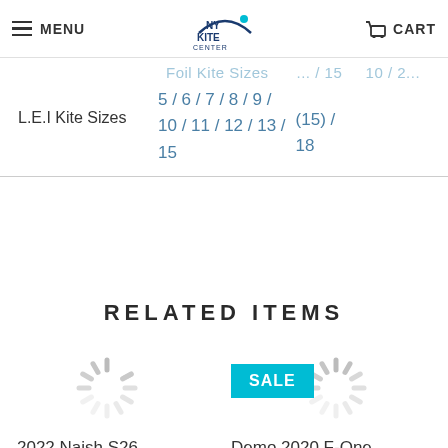MENU | NY KITE CENTER | CART
Foil Kite Sizes ... / 15    10 / 2...
L.E.I Kite Sizes   5 / 6 / 7 / 8 / 9 / 10 / 11 / 12 / 13 / 15    (15) / 18
RELATED ITEMS
[Figure (illustration): Loading spinner placeholder for 2022 Naish S26 Kevlar Wave Paddle product image]
2022 Naish S26 Kevlar Wave Paddle
[Figure (illustration): Loading spinner with SALE badge placeholder for Demo 2020 F-One Swing V1 6m Wing Used product image]
Demo 2020 F-One Swing V1 6m Wing Used